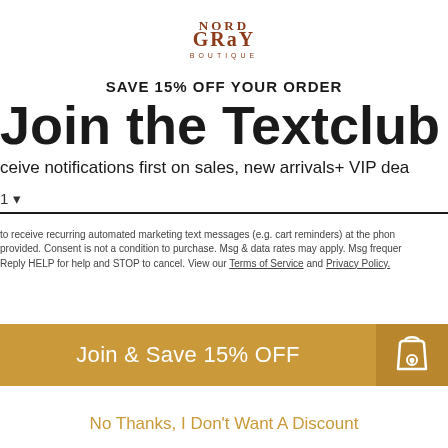[Figure (logo): Nord Gray Boutique logo in copper/rust color]
SAVE 15% OFF YOUR ORDER
Join the Textclub
Receive notifications first on sales, new arrivals+ VIP deals
+1 ▾ (phone input field)
to receive recurring automated marketing text messages (e.g. cart reminders) at the phone number provided. Consent is not a condition to purchase. Msg & data rates may apply. Msg frequency varies. Reply HELP for help and STOP to cancel. View our Terms of Service and Privacy Policy.
Join & Save 15% OFF
No Thanks, I Don't Want A Discount